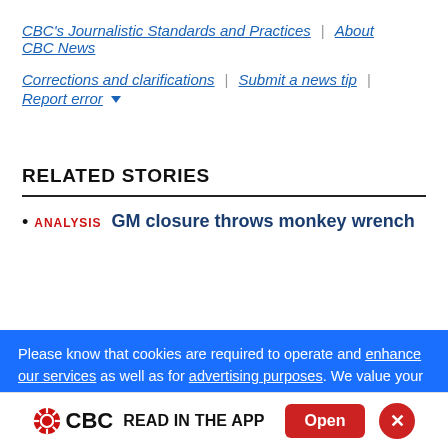CBC's Journalistic Standards and Practices | About CBC News
Corrections and clarifications | Submit a news tip | Report error
RELATED STORIES
ANALYSIS  GM closure throws monkey wrench
Please know that cookies are required to operate and enhance our services as well as for advertising purposes. We value your privacy. If you are not comfortable with us using this information, please review your settings before continuing your visit.
CBC READ IN THE APP  Open